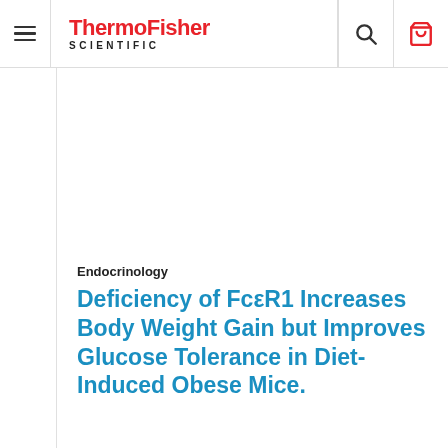ThermoFisher SCIENTIFIC
Endocrinology
Deficiency of FcεR1 Increases Body Weight Gain but Improves Glucose Tolerance in Diet-Induced Obese Mice.